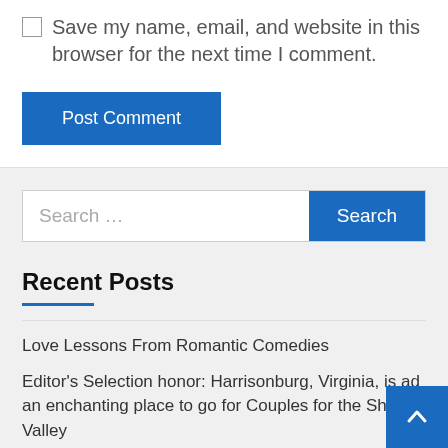Save my name, email, and website in this browser for the next time I comment.
Post Comment
Search ...
Search
Recent Posts
Love Lessons From Romantic Comedies
Editor's Selection honor: Harrisonburg, Virginia, is ad an enchanting place to go for Couples for the Shenan Valley